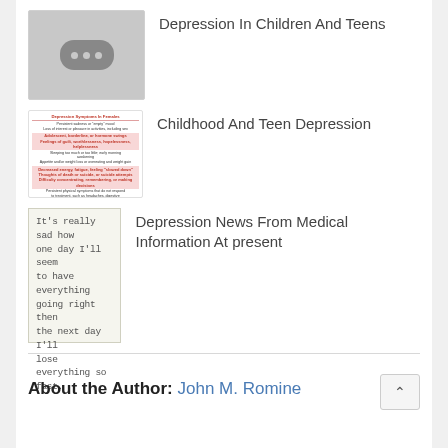Depression In Children And Teens
Childhood And Teen Depression
Depression News From Medical Information At present
About the Author: John M. Romine